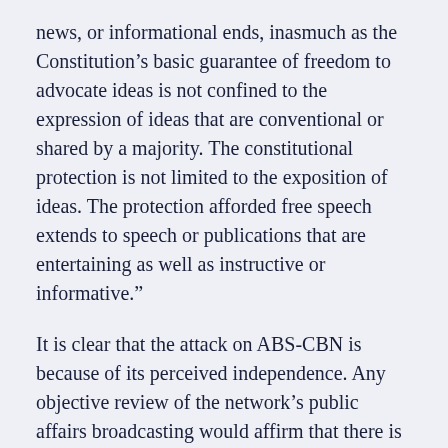news, or informational ends, inasmuch as the Constitution’s basic guarantee of freedom to advocate ideas is not confined to the expression of ideas that are conventional or shared by a majority. The constitutional protection is not limited to the exposition of ideas. The protection afforded free speech extends to speech or publications that are entertaining as well as instructive or informative.”
It is clear that the attack on ABS-CBN is because of its perceived independence. Any objective review of the network’s public affairs broadcasting would affirm that there is no political agenda behind its reports and shows. We would even point to some of the network’s top anchors as quite sympathetic to the current administration even as it also broadcast critical